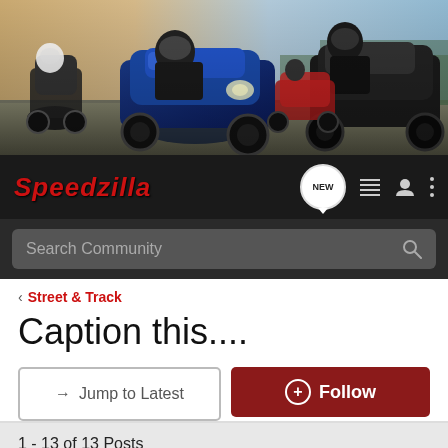[Figure (photo): Hero banner showing motorcycle racers on a track, featuring blue, black, and red sport bikes with riders in racing gear]
[Figure (logo): Speedzilla logo in red italic text on dark navbar, with NEW chat bubble icon, list icon, user icon, and three-dot menu icon]
[Figure (screenshot): Search Community bar with magnifying glass icon on dark background]
Street & Track
Caption this....
→ Jump to Latest
+ Follow
1 - 13 of 13 Posts
TrickLidz · lidzduc.blogspot.com
Joined Sep 15, 2005 · 3,578 Posts